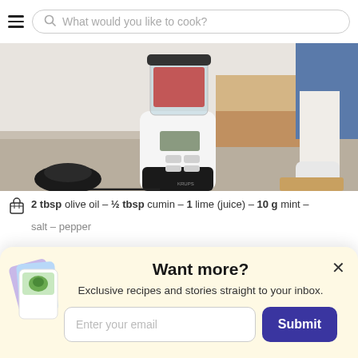What would you like to cook?
[Figure (photo): A Krups blender with red ingredients inside, sitting on a kitchen counter. A person in jeans and an apron is visible in the background near a wooden drawer unit.]
2 tbsp olive oil – ½ tbsp cumin – 1 lime (juice) – 10 g mint – salt – pepper
Want more?
Exclusive recipes and stories straight to your inbox.
Enter your email
Submit